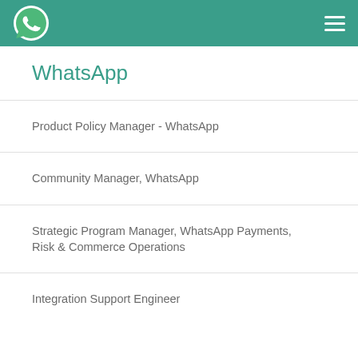WhatsApp
WhatsApp
Product Policy Manager - WhatsApp
Community Manager, WhatsApp
Strategic Program Manager, WhatsApp Payments, Risk & Commerce Operations
Integration Support Engineer